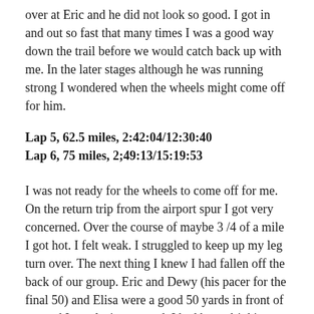over at Eric and he did not look so good.  I got in and out so fast that many times I was a good way down the trail before we would catch back up with me.  In the later stages although he was running strong I wondered when the wheels might come off for him.
Lap 5, 62.5 miles, 2:42:04/12:30:40
Lap 6, 75 miles, 2;49:13/15:19:53
I was not ready for the wheels to come off for me.  On the return trip from the airport spur I got very concerned.  Over the course of maybe 3 /4 of a mile I got hot.  I felt weak.  I struggled to keep up my leg turn over.  The next thing I knew I had fallen off the back of our group.  Eric and Dewy (his pacer for the final 50) and Elisa were a good 50 yards in front of me and I was losing ground.  I had been drinking and eating...so I had no idea what was going on but a wave of heat had overcome me and I thought for a moment that this is how the race begins to come apart.  I made my way back